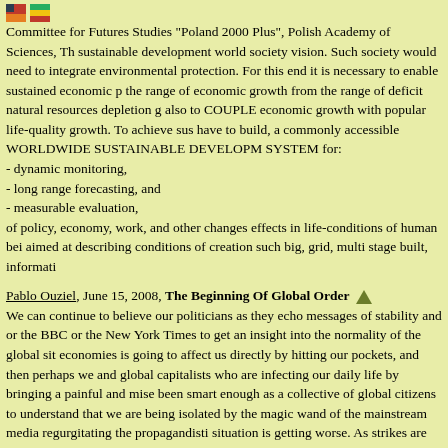[Figure (other): Two small icons/flags at top left]
Committee for Futures Studies "Poland 2000 Plus", Polish Academy of Sciences, Th sustainable development world society vision. Such society would need to integrate environmental protection. For this end it is necessary to enable sustained economic p the range of economic growth from the range of deficit natural resources depletion g also to COUPLE economic growth with popular life-quality growth. To achieve sus have to build, a commonly accessible WORLDWIDE SUSTAINABLE DEVELOPM SYSTEM for:
- dynamic monitoring,
- long range forecasting, and
- measurable evaluation,
of policy, economy, work, and other changes effects in life-conditions of human bei aimed at describing conditions of creation such big, grid, multi stage built, informati
Pablo Ouziel, June 15, 2008, The Beginning Of Global Order
We can continue to believe our politicians as they echo messages of stability and or the BBC or the New York Times to get an insight into the normality of the global sit economies is going to affect us directly by hitting our pockets, and then perhaps we and global capitalists who are infecting our daily life by bringing a painful and mise been smart enough as a collective of global citizens to understand that we are being isolated by the magic wand of the mainstream media regurgitating the propagandisti situation is getting worse. As strikes are on the rise and unemployment is increasing happening. The elites will continue to keep us divided, because divided is how they understand that the only strength we have against their policies, is the collective stre that our politicians are lying to us? Will we ever understand that the mainstream me defend the interests of the wealthy? One can see clearly whose interest the police se pointed at them. We must begin to pave the path to peace in order to gain global sta speculators from benefiting from the misery of others, by punishing corrupt politicia rich because we have placed our money in their hands. Ultimately, unless we begi